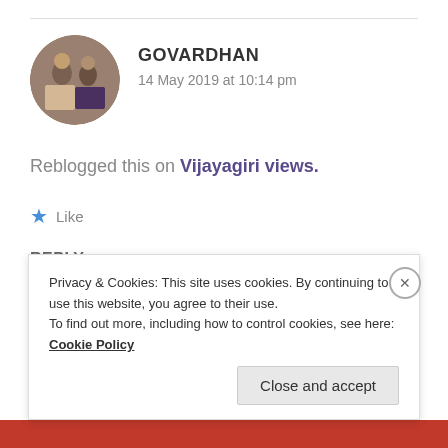GOVARDHAN
14 May 2019 at 10:14 pm
Reblogged this on Vijayagiri views.
★ Like
REPLY
Privacy & Cookies: This site uses cookies. By continuing to use this website, you agree to their use.
To find out more, including how to control cookies, see here: Cookie Policy
Close and accept